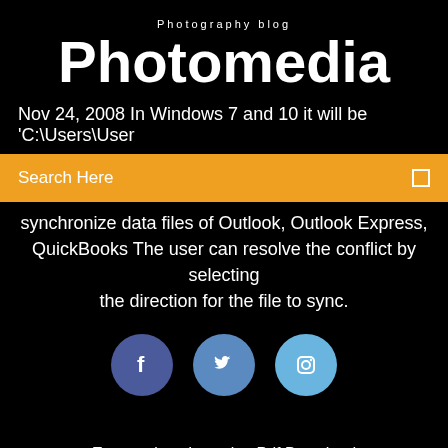Photography blog
Photomedia
Nov 24, 2008 In Windows 7 and 10 it will be 'C:\Users\User
Search Here
synchronize data files of Outlook, Outlook Express, QuickBooks The user can resolve the conflict by selecting the direction for the file to sync.
[Figure (infographic): Three social media icon circles: Facebook (dark blue), Twitter (medium blue), Instagram (light blue)]
Expectations Investing Pdf Download
Download Android App To Pc